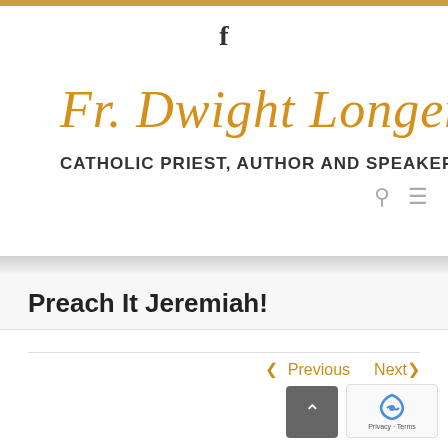f
Fr. Dwight Longenecker
CATHOLIC PRIEST, AUTHOR AND SPEAKER
Preach It Jeremiah!
< Previous   Next >
Preach It Jeremiah!